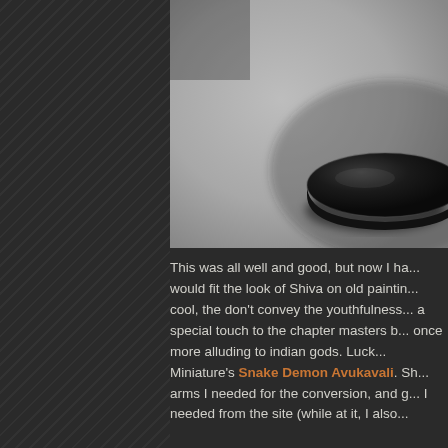[Figure (photo): Close-up photograph of a dark circular miniature base on a light gray surface, viewed from above at an angle. The base is black/very dark navy, round, flat on the bottom. Background is blurred light grey.]
This was all well and good, but now I ha... would fit the look of Shiva on old paintin... cool, the don't convey the youthfulness ... a special touch to the chapter masters b... once more alluding to indian gods. Luck... Miniature's Snake Demon Avukavali. Sh... arms I needed for the conversion, and g... I needed from the site (while at it, I also...